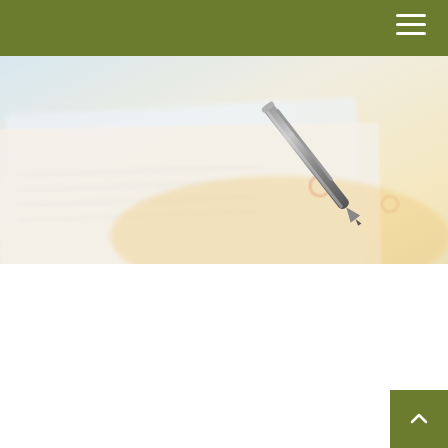[Figure (photo): Close-up photo of a ballpoint pen resting on financial documents or a spreadsheet, with blurred text and grid lines visible, warm and cool tones]
TAX
READ TIME: 3 MIN
UNDERSTANDING MARGINAL INCOME TAX BRACKETS
By any measure, the tax code is huge. It is over 2,000